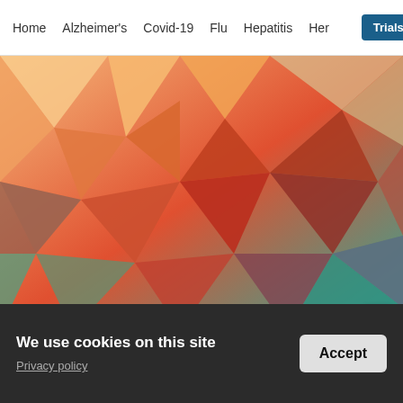Home   Alzheimer's   Covid-19   Flu   Hepatitis   Her   Trials   Labs
[Figure (illustration): Abstract low-poly geometric background image with warm orange-red tones in the center fading to teal/green at the bottom and peach/yellow at the top-left, composed of triangular polygons.]
ADVERTISEMENT
We use cookies on this site
Privacy policy
Accept